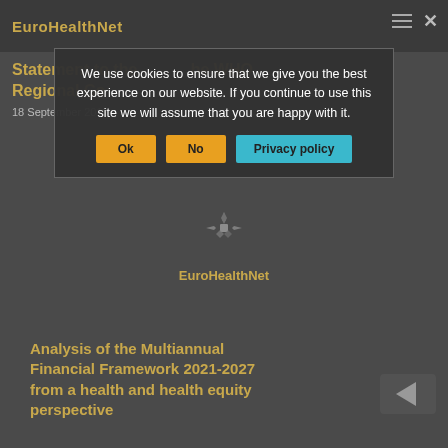EuroHealthNet
Statement to the WHO Regional Committee
18 September 2019
We use cookies to ensure that we give you the best experience on our website. If you continue to use this site we will assume that you are happy with it.
[Figure (logo): EuroHealthNet logo with decorative cross/snowflake symbol above the text EuroHealthNet]
Analysis of the Multiannual Financial Framework 2021-2027 from a health and health equity perspective